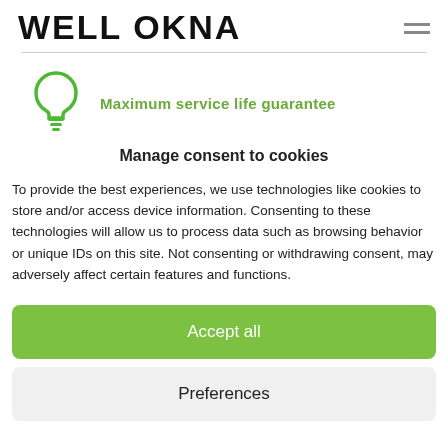WELL OKNA
[Figure (illustration): Green lightbulb icon with text 'Maximum service life guarantee']
Manage consent to cookies
To provide the best experiences, we use technologies like cookies to store and/or access device information. Consenting to these technologies will allow us to process data such as browsing behavior or unique IDs on this site. Not consenting or withdrawing consent, may adversely affect certain features and functions.
Accept all
Preferences